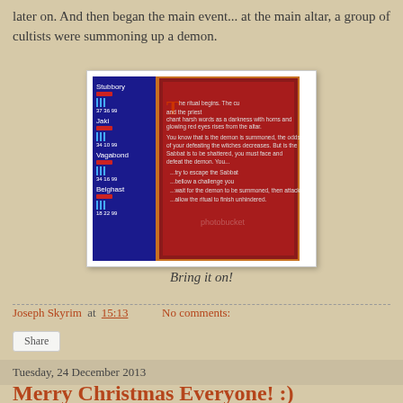later on. And then began the main event... at the main altar, a group of cultists were summoning up a demon.
[Figure (screenshot): A video game screenshot showing characters on the left panel and a red dialog box with text about a demon summoning ritual and player choices.]
Bring it on!
Joseph Skyrim at 15:13    No comments:
Share
Tuesday, 24 December 2013
Merry Christmas Everyone! :)